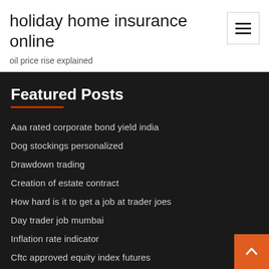holiday home insurance online
oil price rise explained
Featured Posts
Aaa rated corporate bond yield india
Dog stockings personalized
Drawdown trading
Creation of estate contract
How hard is it to get a job at trader joes
Day trader job mumbai
Inflation rate indicator
Cftc approved equity index futures